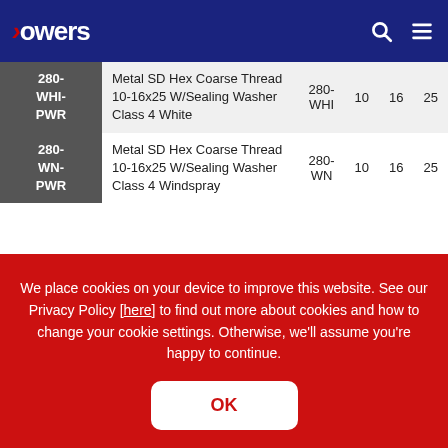Powers
| Code | Description | Ref |  |  |  |
| --- | --- | --- | --- | --- | --- |
| 280-WHI-PWR | Metal SD Hex Coarse Thread 10-16x25 W/Sealing Washer Class 4 White | 280-WHI | 10 | 16 | 25 |
| 280-WN-PWR | Metal SD Hex Coarse Thread 10-16x25 W/Sealing Washer Class 4 Windspray | 280-WN | 10 | 16 | 25 |
We place cookies on your device to improve this website. See our Privacy Policy [here] to find out more about cookies and how to change your cookie settings. Otherwise, we'll assume you're happy to continue.